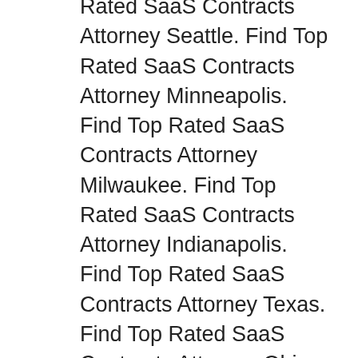Rated SaaS Contracts Attorney Seattle. Find Top Rated SaaS Contracts Attorney Minneapolis. Find Top Rated SaaS Contracts Attorney Milwaukee. Find Top Rated SaaS Contracts Attorney Indianapolis. Find Top Rated SaaS Contracts Attorney Texas. Find Top Rated SaaS Contracts Attorney Ohio. Find Top Rated SaaS Contracts Attorney Florida. Find Top Rated SaaS Contracts Attorney St. Louis. Find Top Rated SaaS Contracts Attorney Kansas City. Find Top Rated SaaS Contracts Attorney Oklahoma City. Find Top Rated SaaS Contracts Attorney Austin. Find Top Rated SaaS Contracts Attorney Dallas. Find Top Rated SaaS Contracts Attorney Houston. Find Top Rated SaaS Contracts Attorney San Antonio. Find Top Rated SaaS Contracts Attorney New Orleans. Find Top Rated SaaS Contracts Attorney Memphis. Find Top Rated